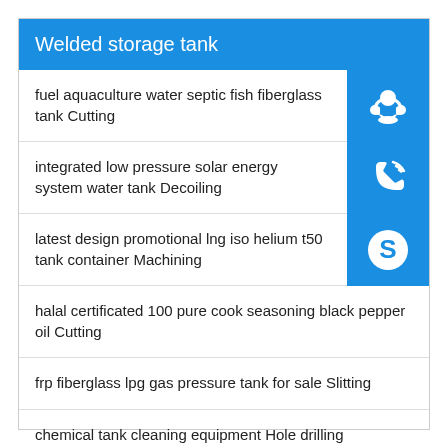Welded storage tank
fuel aquaculture water septic fish fiberglass tank Cutting
integrated low pressure solar energy system water tank Decoiling
latest design promotional lng iso helium t50 tank container Machining
halal certificated 100 pure cook seasoning black pepper oil Cutting
frp fiberglass lpg gas pressure tank for sale Slitting
chemical tank cleaning equipment Hole drilling